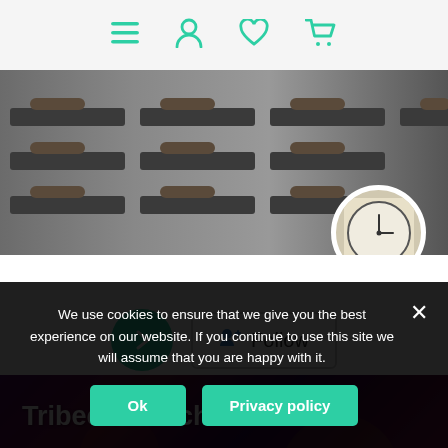Navigation bar with menu, profile, heart, and cart icons
[Figure (photo): Yoga studio with rolled mats on dark surfaces, with a circular profile image overlay showing a clock/watch face]
[Figure (screenshot): White card section with a green circular arrow button and a Follow button]
[Figure (photo): Tribeca Manchester nightclub background with purple/magenta lighting and crowd]
Tribeca Manchester
50 Sackville Street, Manchester,
We use cookies to ensure that we give you the best experience on our website. If you continue to use this site we will assume that you are happy with it.